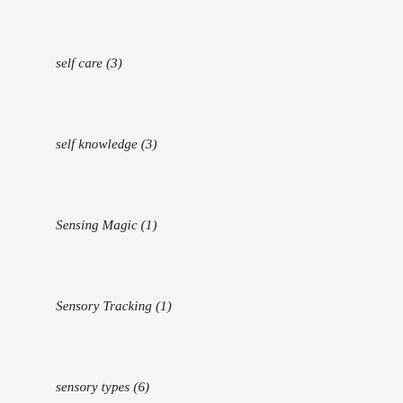self care (3)
self knowledge (3)
Sensing Magic (1)
Sensory Tracking (1)
sensory types (6)
storytelling (4)
The Brain (3)
The Organs of Knowledge (2)
Uncategorized (23)
Vestibular (2)